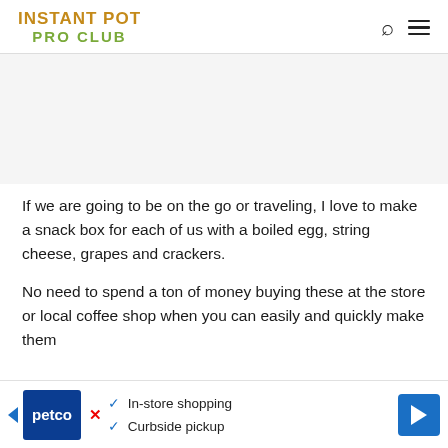INSTANT POT PRO CLUB
If we are going to be on the go or traveling, I love to make a snack box for each of us with a boiled egg, string cheese, grapes and crackers.
No need to spend a ton of money buying these at the store or local coffee shop when you can easily and quickly make them
[Figure (other): Petco advertisement banner: In-store shopping, Curbside pickup]